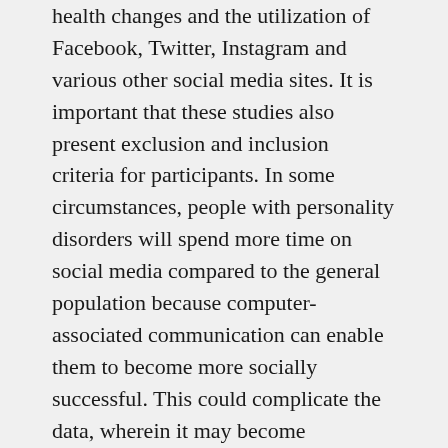health changes and the utilization of Facebook, Twitter, Instagram and various other social media sites. It is important that these studies also present exclusion and inclusion criteria for participants. In some circumstances, people with personality disorders will spend more time on social media compared to the general population because computer-associated communication can enable them to become more socially successful. This could complicate the data, wherein it may become unrepresentative of the population.
Regardless of what you think of social media, all platforms – especially Facebook and Instagram – forcefully incite constant self-evaluation on a daily basis, often resulting in unnecessary competition and comparisons of one's accomplishments with those of others – in some circumstances, people we